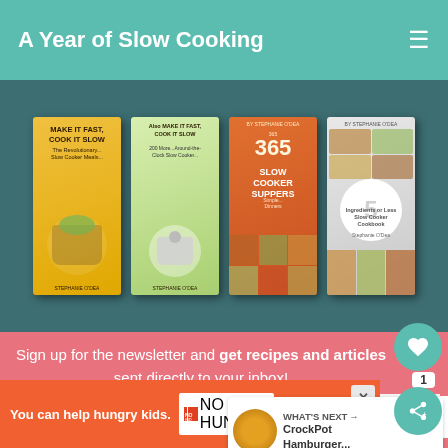A Year of Slow Cooking
[Figure (photo): Four cookbook covers on a dark teal background: 'Make It Fast, Cook It Slow', 'Also Make It Fast, Cook It Slow', '365 Slow Cooker Suppers', and '5 Ingredients or Less Slow Cooker Cookbook']
Sign up for the newsletter and get recipes and articles sent directly to your inbox!
Name
Email
Sign Up
[Figure (infographic): WHAT'S NEXT arrow with CrockPot Hamburger... label and food photo]
You can help hungry kids.
NO KID HUNGRY
LEARN HOW